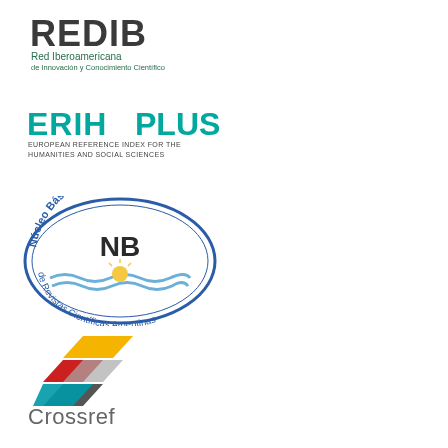[Figure (logo): REDIB logo - Red Iberoamericana de Innovación y Conocimiento Científico]
[Figure (logo): ERIH PLUS logo - European Reference Index for the Humanities and Social Sciences]
[Figure (logo): Núcleo Básico de Revistas Científicas Argentinas (NB) circular badge logo]
[Figure (logo): Crossref logo with colored arrow/chevron graphic]
[Figure (logo): DOAJ - Directory of Open Access Journals logo in orange]